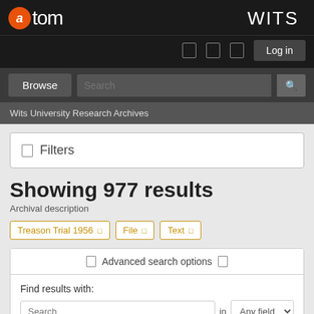[Figure (logo): AtoM logo with orange circle containing 'a' and white text 'atom']
WITS
Browse | Search | Log in
Wits University Research Archives
Filters
Showing 977 results
Archival description
Treason Trial 1956
File
Text
Advanced search options
Find results with:
Search in Any field